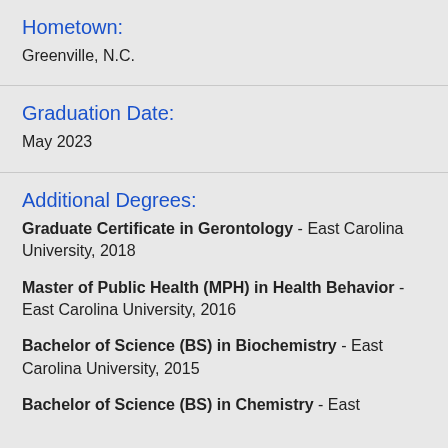Hometown:
Greenville, N.C.
Graduation Date:
May 2023
Additional Degrees:
Graduate Certificate in Gerontology - East Carolina University, 2018
Master of Public Health (MPH) in Health Behavior - East Carolina University, 2016
Bachelor of Science (BS) in Biochemistry - East Carolina University, 2015
Bachelor of Science (BS) in Chemistry - East